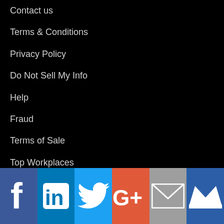Contact us
Terms & Conditions
Privacy Policy
Do Not Sell My Info
Help
Fraud
Terms of Sale
Top Workplaces
2021 Star Nurses Finalists
Twitter feeds
Post a job with us
[Figure (infographic): Social media icon bar with Facebook, LinkedIn, Twitter, Google+, Email, and Crown/Newsletter icons]